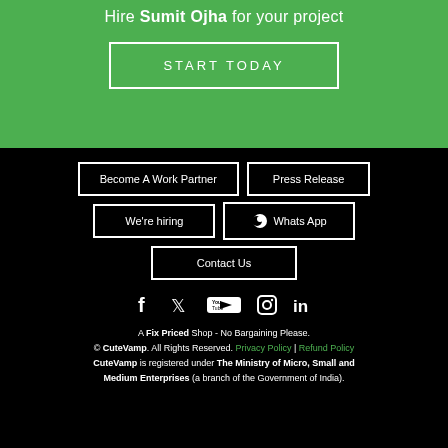Hire Sumit Ojha for your project
START TODAY
Become A Work Partner
Press Release
We're hiring
Whats App
Contact Us
[Figure (infographic): Social media icons row: Facebook, Twitter, YouTube, Instagram, LinkedIn]
A Fix Priced Shop - No Bargaining Please. © CuteVamp. All Rights Reserved. Privacy Policy | Refund Policy CuteVamp is registered under The Ministry of Micro, Small and Medium Enterprises (a branch of the Government of India).